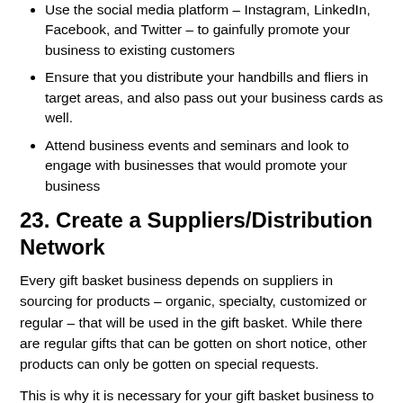Use the social media platform – Instagram, LinkedIn, Facebook, and Twitter – to gainfully promote your business to existing customers
Ensure that you distribute your handbills and fliers in target areas, and also pass out your business cards as well.
Attend business events and seminars and look to engage with businesses that would promote your business
23. Create a Suppliers/Distribution Network
Every gift basket business depends on suppliers in sourcing for products – organic, specialty, customized or regular – that will be used in the gift basket. While there are regular gifts that can be gotten on short notice, other products can only be gotten on special requests.
This is why it is necessary for your gift basket business to be in good contact with its suppliers and distributors. These suppliers are not only necessary in terms of ensuring you get your supply, but if you have a good relationship with them, you